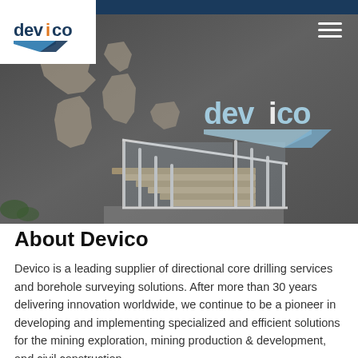[Figure (photo): Interior photo of Devico office/lobby showing a concrete wall with a large metal world map sculpture on the left and a large Devico logo (3D letters in light blue/silver) mounted on the right wall. A staircase with metal/glass railings is in the foreground center.]
About Devico
Devico is a leading supplier of directional core drilling services and borehole surveying solutions. After more than 30 years delivering innovation worldwide, we continue to be a pioneer in developing and implementing specialized and efficient solutions for the mining exploration, mining production & development, and civil construction